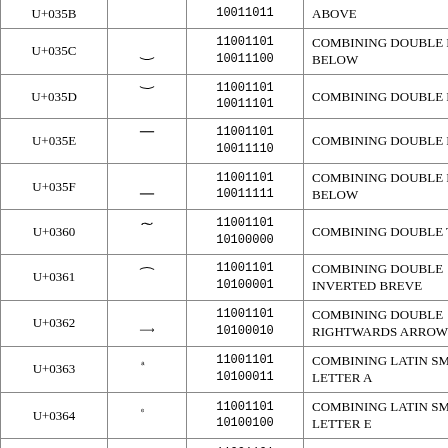| Code | Glyph | Binary | Name |
| --- | --- | --- | --- |
| U+035B |  | 10011011 | ABOVE |
| U+035C | ͜ | 11001101 10011100 | COMBINING DOUBLE BREVE BELOW |
| U+035D | ͝ | 11001101 10011101 | COMBINING DOUBLE BREVE |
| U+035E | ͞ | 11001101 10011110 | COMBINING DOUBLE MACRON |
| U+035F | ͟ | 11001101 10011111 | COMBINING DOUBLE MACRON BELOW |
| U+0360 | ͠ | 11001101 10100000 | COMBINING DOUBLE TILDE |
| U+0361 | ͡ | 11001101 10100001 | COMBINING DOUBLE INVERTED BREVE |
| U+0362 | ͢ | 11001101 10100010 | COMBINING DOUBLE RIGHTWARDS ARROW BELOW |
| U+0363 | ͣ | 11001101 10100011 | COMBINING LATIN SMALL LETTER A |
| U+0364 | ͤ | 11001101 10100100 | COMBINING LATIN SMALL LETTER E |
| U+0365 | ͥ | 11001101 10100101 | COMBINING LATIN SMALL LETTER I |
| U+0366 | ͦ | 11001101 | COMBINING LATIN |